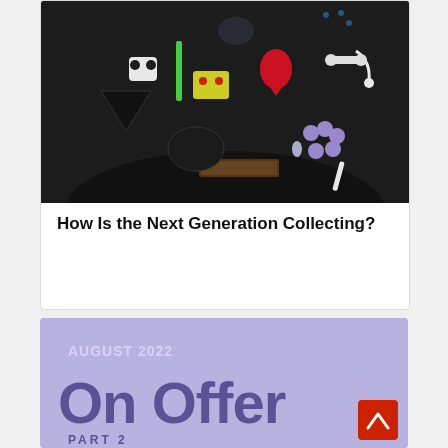[Figure (photo): A person wearing a dark jacket/top with numerous small objects pinned or laid out on the front — including bones, gems, tools, decorative items, skulls — displayed like a collection.]
How Is the Next Generation Collecting?
[Figure (infographic): Purple/lavender banner reading 'AUGUST 2022' at top and 'On Offer' in large dark purple text, with 'PART 2' below. A red scroll-to-top button with an upward chevron appears in the lower right corner.]